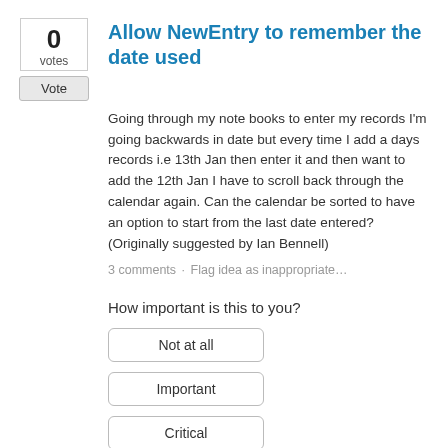Allow NewEntry to remember the date used
Going through my note books to enter my records I'm going backwards in date but every time I add a days records i.e 13th Jan then enter it and then want to add the 12th Jan I have to scroll back through the calendar again. Can the calendar be sorted to have an option to start from the last date entered? (Originally suggested by Ian Bennell)
3 comments · Flag idea as inappropriate…
How important is this to you?
Not at all
Important
Critical
DECLINED · Justin Caldicott (Co-founder, Bird Journal) responded